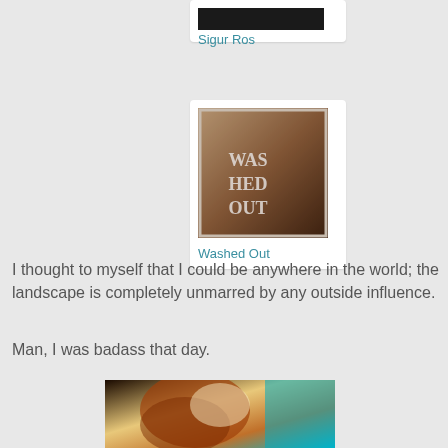[Figure (photo): Sigur Ros album art thumbnail at top]
Sigur Ros
[Figure (photo): Washed Out album art showing person with text WAS HED OUT on back]
Washed Out
I thought to myself that I could be anywhere in the world; the landscape is completely unmarred by any outside influence.
Man, I was badass that day.
[Figure (photo): Close-up photo of person with red/auburn curly hair with teal/cyan lighting]